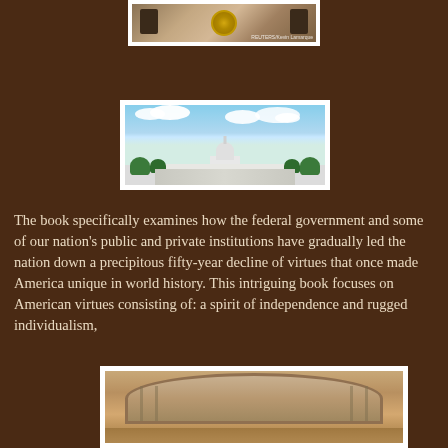[Figure (photo): Partial view of a photo showing people at a desk with a Presidential seal, with Reuters/Kevin Lamarque watermark]
[Figure (photo): Photo of the US Capitol building with blue sky and clouds in the background]
The book specifically examines how the federal government and some of our nation's public and private institutions have gradually led the nation down a precipitous fifty-year decline of virtues that once made America unique in world history. This intriguing book focuses on American virtues consisting of: a spirit of independence and rugged individualism,
[Figure (photo): Partially visible photo showing what appears to be a covered wagon or similar frontier/historical image with a sepia/dusty tone]